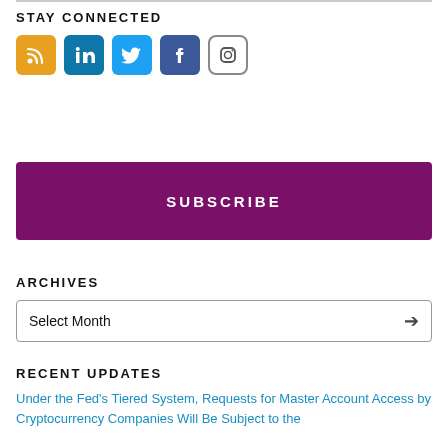STAY CONNECTED
[Figure (infographic): Social media icons: RSS (orange), LinkedIn (blue), Twitter (light blue), Facebook (dark blue), Instagram (outline)]
SUBSCRIBE
ARCHIVES
Select Month
RECENT UPDATES
Under the Fed's Tiered System, Requests for Master Account Access by Cryptocurrency Companies Will Be Subject to the